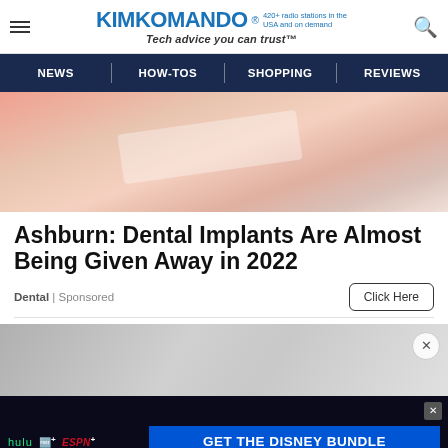KimKomando® 420+ radio stations in the USA and on demand — Tech advice you can trust™
NEWS | HOW-TOS | SHOPPING | REVIEWS
[Figure (photo): Close-up photo of a skin or dental-like surface with pinkish tones and a reflective/glossy white area]
Ashburn: Dental Implants Are Almost Being Given Away in 2022
Dental | Sponsored
[Figure (photo): Grayscale close-up photo (partial, cut off at bottom) with an X close button on the right]
[Figure (screenshot): Disney Bundle advertisement banner showing Hulu, Disney+, ESPN+ logos and 'GET THE DISNEY BUNDLE' call to action. Fine print: Incl. Hulu (ad-supported) or Hulu (No Ads). Access content from each service separately. ©2021 Disney and its related entities.]